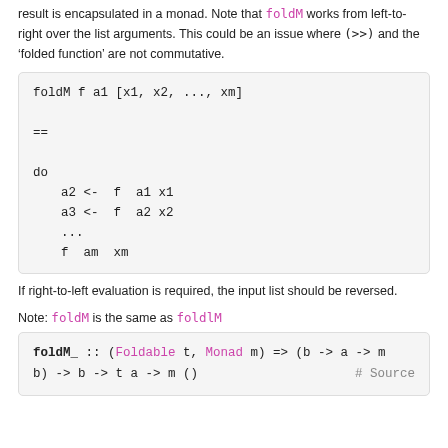result is encapsulated in a monad. Note that foldM works from left-to-right over the list arguments. This could be an issue where (>>) and the 'folded function' are not commutative.
If right-to-left evaluation is required, the input list should be reversed.
Note: foldM is the same as foldlM